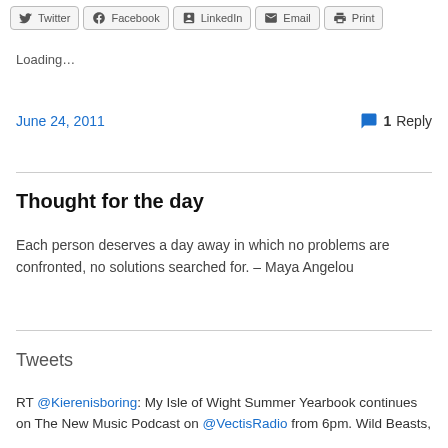Twitter  Facebook  LinkedIn  Email  Print
Loading...
June 24, 2011    1 Reply
Thought for the day
Each person deserves a day away in which no problems are confronted, no solutions searched for. – Maya Angelou
Tweets
RT @Kierenisboring: My Isle of Wight Summer Yearbook continues on The New Music Podcast on @VectisRadio from 6pm. Wild Beasts,